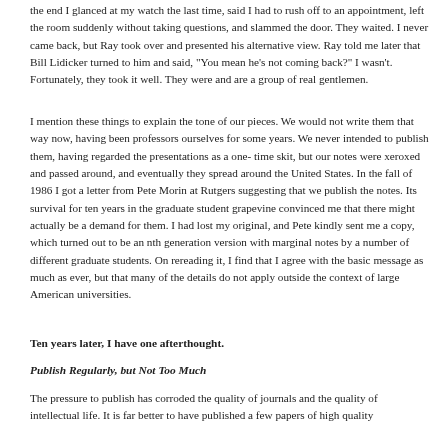the end I glanced at my watch the last time, said I had to rush off to an appointment, left the room suddenly without taking questions, and slammed the door. They waited. I never came back, but Ray took over and presented his alternative view. Ray told me later that Bill Lidicker turned to him and said, "You mean he's not coming back?" I wasn't. Fortunately, they took it well. They were and are a group of real gentlemen.
I mention these things to explain the tone of our pieces. We would not write them that way now, having been professors ourselves for some years. We never intended to publish them, having regarded the presentations as a one-time skit, but our notes were xeroxed and passed around, and eventually they spread around the United States. In the fall of 1986 I got a letter from Pete Morin at Rutgers suggesting that we publish the notes. Its survival for ten years in the graduate student grapevine convinced me that there might actually be a demand for them. I had lost my original, and Pete kindly sent me a copy, which turned out to be an nth generation version with marginal notes by a number of different graduate students. On rereading it, I find that I agree with the basic message as much as ever, but that many of the details do not apply outside the context of large American universities.
Ten years later, I have one afterthought.
Publish Regularly, but Not Too Much
The pressure to publish has corroded the quality of journals and the quality of intellectual life. It is far better to have published a few papers of high quality